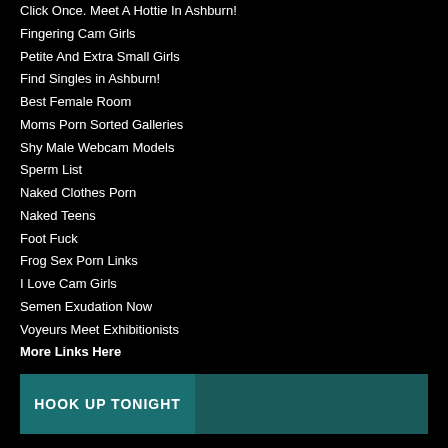Click Once. Meet A Hottie In Ashburn!
Fingering Cam Girls
Petite And Extra Small Girls
Find Singles in Ashburn!
Best Female Room
Moms Porn Sorted Galleries
Shy Male Webcam Models
Sperm List
Naked Clothes Porn
Naked Teens
Foot Fuck
Frog Sex Porn Links
I Love Cam Girls
Semen Exudation Now
Voyeurs Meet Exhibitionists
More Links Here
[Figure (other): Banner with teal/dark teal background. Left section has bold white text 'HOOK UP TONIGHT'. Right section is a darker teal color.]